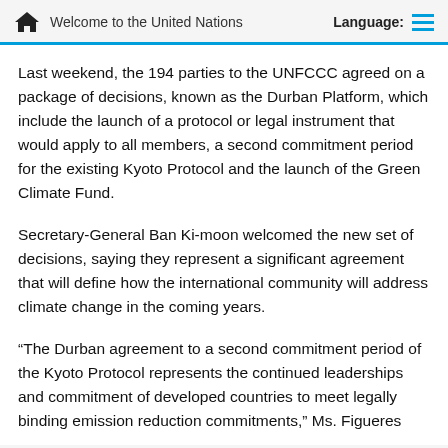Welcome to the United Nations  Language:
Last weekend, the 194 parties to the UNFCCC agreed on a package of decisions, known as the Durban Platform, which include the launch of a protocol or legal instrument that would apply to all members, a second commitment period for the existing Kyoto Protocol and the launch of the Green Climate Fund.
Secretary-General Ban Ki-moon welcomed the new set of decisions, saying they represent a significant agreement that will define how the international community will address climate change in the coming years.
“The Durban agreement to a second commitment period of the Kyoto Protocol represents the continued leaderships and commitment of developed countries to meet legally binding emission reduction commitments,” Ms. Figueres